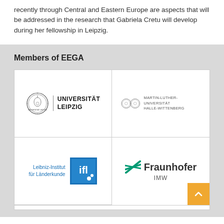recently through Central and Eastern Europe are aspects that will be addressed in the research that Gabriela Cretu will develop during her fellowship in Leipzig.
Members of EEGA
[Figure (logo): Universität Leipzig seal logo with circular emblem and text 'UNIVERSITAT LEIPZIG']
[Figure (logo): Martin-Luther-Universität Halle-Wittenberg logo with two circular seals]
[Figure (logo): Leibniz-Institut für Länderkunde (IfL) logo with blue text and blue/white badge]
[Figure (logo): Fraunhofer IMW logo with green diagonal lines and bold text]